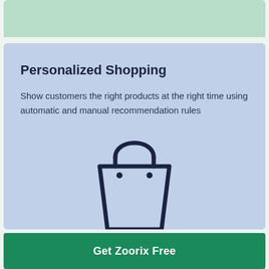[Figure (illustration): Top green bar banner area]
Personalized Shopping
Show customers the right products at the right time using automatic and manual recommendation rules
[Figure (illustration): Shopping bag outline icon in dark navy color]
Get Zoorix Free